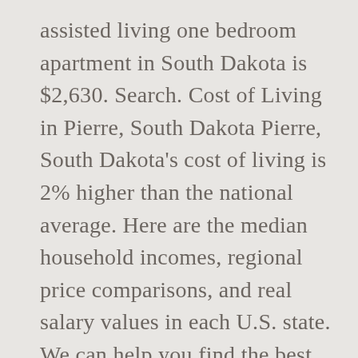assisted living one bedroom apartment in South Dakota is $2,630. Search. Cost of Living in Pierre, South Dakota Pierre, South Dakota's cost of living is 2% higher than the national average. Here are the median household incomes, regional price comparisons, and real salary values in each U.S. state. We can help you find the best matches for your needs. Healthcare costs make up a significant part of the, Energy is one of the costs that contribute to the. It is named after the Lakota and Dakota Sioux Native American tribes, who compose a large portion of the population and historically dominated the territory. A cost of food score of 1 indicates most expensive while